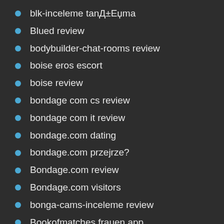blk-inceleme tanД±Еџma
Blued review
bodybuilder-chat-rooms review
boise eros escort
boise review
bondage com cs review
bondage com it review
bondage.com dating
bondage.com przejrze?
Bondage.com review
Bondage.com visitors
bonga-cams-inceleme review
Bookofmatches frauen app
Bookofmatches review
BookOfMatches visitors